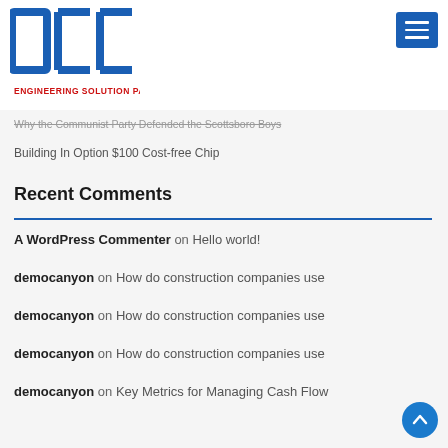OCC ENGINEERING SOLUTION PARTNER
Why the Communist Party Defended the Scottsboro Boys
Building In Option $100 Cost-free Chip
Recent Comments
A WordPress Commenter on Hello world!
democanyon on How do construction companies use
democanyon on How do construction companies use
democanyon on How do construction companies use
democanyon on Key Metrics for Managing Cash Flow